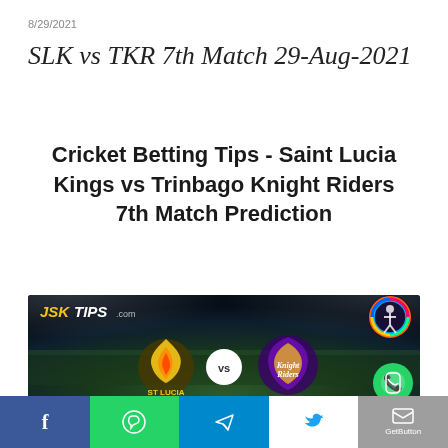8/29/2021
SLK vs TKR 7th Match 29-Aug-2021
Cricket Betting Tips - Saint Lucia Kings vs Trinbago Knight Riders 7th Match Prediction
[Figure (photo): JSKTips.com promotional image showing Saint Lucia Zouks vs Trinbago Knight Riders cricket match with team logos on a stadium background]
Social sharing bar with Facebook, WhatsApp, Telegram, Twitter, and GetButton icons